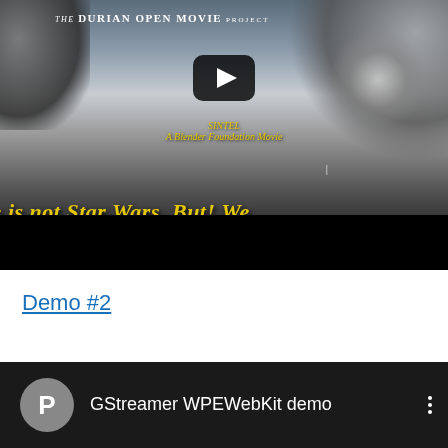[Figure (screenshot): YouTube video thumbnail for The Durian Open Movie Project - Sintel, showing a snowy mountain scene with yellow text 'ie is not Star Wars. But! We' and a play button. Title text reads 'SINTEL A Blender Foundation Movie'.]
Demo #2
[Figure (screenshot): YouTube video entry with dark background showing channel icon 'P' and title 'GStreamer WPEWebKit demo' with a three-dot menu icon.]